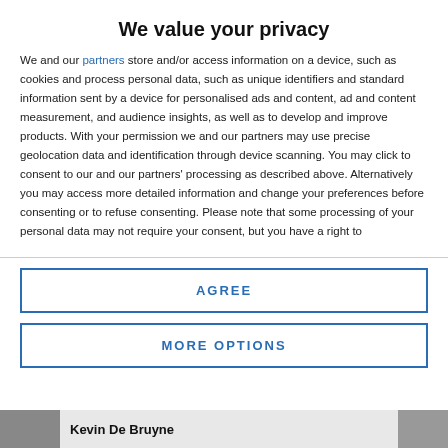We value your privacy
We and our partners store and/or access information on a device, such as cookies and process personal data, such as unique identifiers and standard information sent by a device for personalised ads and content, ad and content measurement, and audience insights, as well as to develop and improve products. With your permission we and our partners may use precise geolocation data and identification through device scanning. You may click to consent to our and our partners' processing as described above. Alternatively you may access more detailed information and change your preferences before consenting or to refuse consenting. Please note that some processing of your personal data may not require your consent, but you have a right to
AGREE
MORE OPTIONS
Kevin De Bruyne